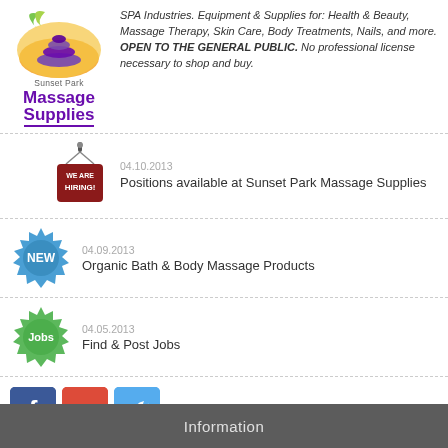[Figure (logo): Sunset Park Massage Supplies logo with stacked stones on orange/yellow background, purple 'Massage Supplies' text]
SPA Industries. Equipment & Supplies for: Health & Beauty, Massage Therapy, Skin Care, Body Treatments, Nails, and more. OPEN TO THE GENERAL PUBLIC. No professional license necessary to shop and buy.
04.10.2013
[Figure (illustration): We Are Hiring sign hanging on a nail]
Positions available at Sunset Park Massage Supplies
04.09.2013
[Figure (illustration): Blue 'NEW' badge/seal icon]
Organic Bath & Body Massage Products
04.05.2013
[Figure (illustration): Green 'Jobs' badge/seal icon]
Find & Post Jobs
[Figure (illustration): Facebook, Google+, and Twitter social media buttons]
Information